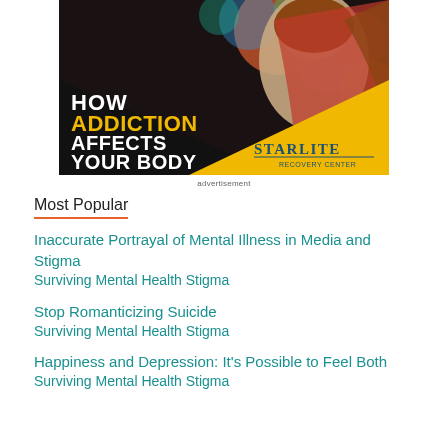[Figure (illustration): Advertisement image showing a woman's face with colorful bokeh background. Bold text reads 'HOW ADDICTION AFFECTS YOUR BODY' with 'ADDICTION' in yellow and remaining text in white. Starlite Recovery Center logo in bottom right on yellow background.]
advertisement
Most Popular
Inaccurate Portrayal of Mental Illness in Media and Stigma
Surviving Mental Health Stigma
Stop Romanticizing Suicide
Surviving Mental Health Stigma
Happiness and Depression: It's Possible to Feel Both
Surviving Mental Health Stigma